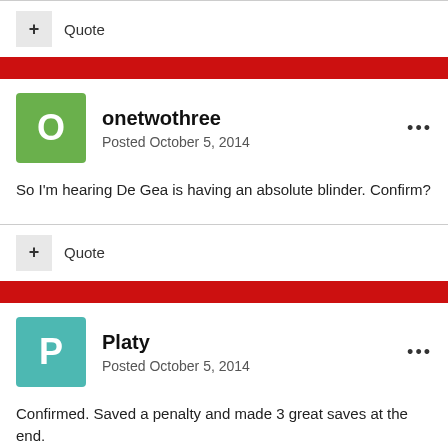+ Quote
onetwothree — Posted October 5, 2014
So I'm hearing De Gea is having an absolute blinder. Confirm?
+ Quote
Platy — Posted October 5, 2014
Confirmed. Saved a penalty and made 3 great saves at the end.